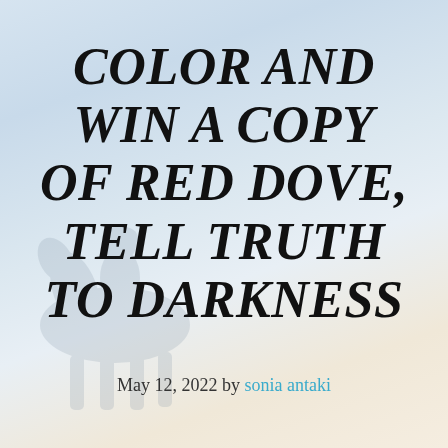[Figure (illustration): Faint silhouette of a person sitting on a horse or elevated surface against a soft gradient background in light blue, lavender, and warm beige tones.]
COLOR AND WIN A COPY OF RED DOVE, TELL TRUTH TO DARKNESS
May 12, 2022 by sonia antaki